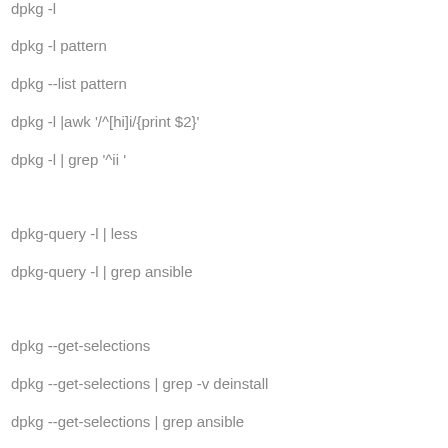dpkg -l
dpkg -l pattern
dpkg --list pattern
dpkg -l |awk '/^[hi]i/{print $2}'
dpkg -l | grep '^ii '
dpkg-query -l | less
dpkg-query -l | grep ansible
dpkg --get-selections
dpkg --get-selections | grep -v deinstall
dpkg --get-selections | grep ansible
dpkg --get-selections | grep -w "install"